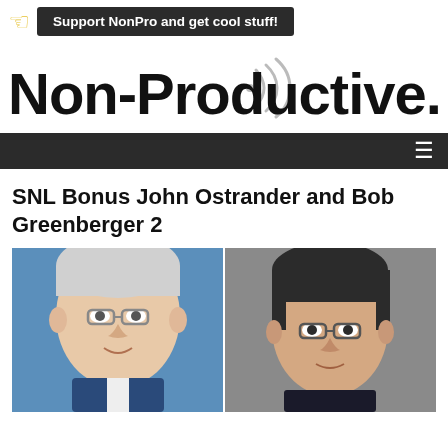Support NonPro and get cool stuff!
[Figure (logo): Non-Productive.com logo with radio wave icon]
SNL Bonus John Ostrander and Bob Greenberger 2
[Figure (photo): Two men side by side: an older white-haired man with glasses on a blue background on the left, and a dark-haired man with glasses on a grey background on the right]